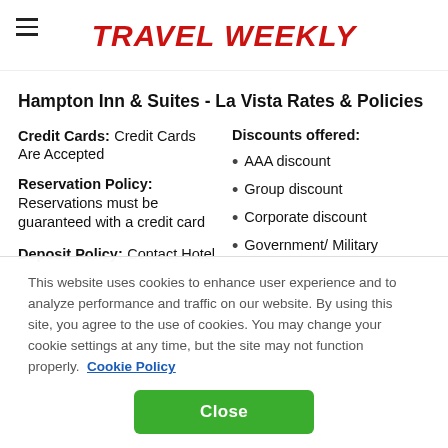TRAVEL WEEKLY
Hampton Inn & Suites - La Vista Rates & Policies
Credit Cards: Credit Cards Are Accepted
Reservation Policy: Reservations must be guaranteed with a credit card
Deposit Policy: Contact Hotel
Discounts offered:
AAA discount
Group discount
Corporate discount
Government/ Military
This website uses cookies to enhance user experience and to analyze performance and traffic on our website. By using this site, you agree to the use of cookies. You may change your cookie settings at any time, but the site may not function properly.
Cookie Policy
Close